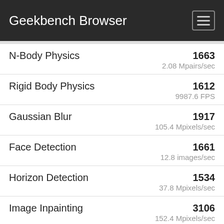Geekbench Browser
N-Body Physics | 1663 | 2.08 Mpairs/sec
Rigid Body Physics | 1612 | 9987.6 FPS
Gaussian Blur | 1917 | 105.4 Mpixels/sec
Face Detection | 1661 | 12.8 images/sec
Horizon Detection | 1534 | 37.8 Mpixels/sec
Image Inpainting | 3106 | 152.4 Mpixels/sec
HDR | 3176 | 43.3 Mpixels/sec
Ray Tracing | 2050